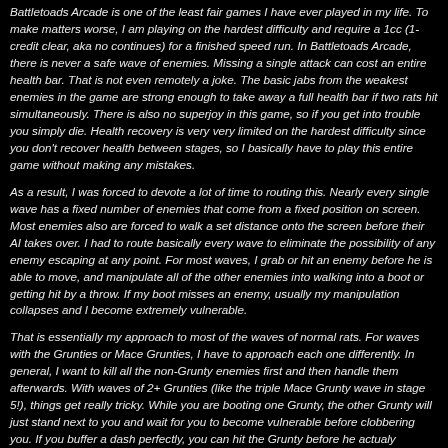Battletoads Arcade is one of the least fair games I have ever played in my life. To make matters worse, I am playing on the hardest difficulty and require a 1cc (1-credit clear, aka no continues) for a finished speed run. In Battletoads Arcade, there is never a safe wave of enemies. Missing a single attack can cost an entire health bar. That is not even remotely a joke. The basic jabs from the weakest enemies in the game are strong enough to take away a full health bar if two rats hit simultaneously. There is also no superjoy in this game, so if you get into trouble you simply die. Health recovery is very very limited on the hardest difficulty since you don't recover health between stages, so I basically have to play this entire game without making any mistakes.
As a result, I was forced to devote a lot of time to routing this. Nearly every single wave has a fixed number of enemies that come from a fixed position on screen. Most enemies also are forced to walk a set distance onto the screen before their AI takes over. I had to route basically every wave to eliminate the possibility of any enemy escaping at any point. For most waves, I grab or hit an enemy before he is able to move, and manipulate all of the other enemies into walking into a boot or getting hit by a throw. If my boot misses an enemy, usually my manipulation collapses and I become extremely vulnerable.
That is essentially my approach to most of the waves of normal rats. For waves with the Grunties or Mace Grunties, I have to approach each one differently. In general, I want to kill all the non-Grunty enemies first and then handle them afterwards. With waves of 2+ Grunties (like the triple Mace Grunty wave in stage 5!), things get really tricky. While you are booting one Grunty, the other Grunty will just stand next to you and wait for you to become vulnerable before clobbering you. If you buffer a dash perfectly, you can hit the Grunty before he actualy connects, but the